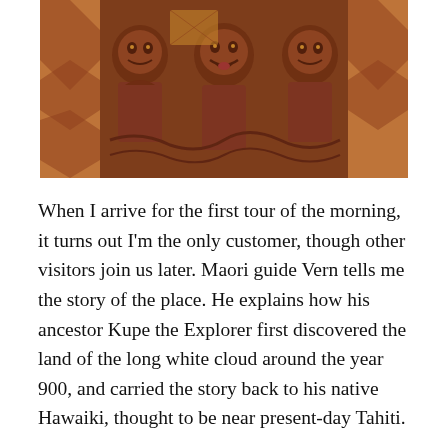[Figure (photo): Maori carved wooden panels and figures, showing intricate traditional carvings with faces and geometric patterns in reddish-brown wood tones.]
When I arrive for the first tour of the morning, it turns out I'm the only customer, though other visitors join us later. Maori guide Vern tells me the story of the place. He explains how his ancestor Kupe the Explorer first discovered the land of the long white cloud around the year 900, and carried the story back to his native Hawaiki, thought to be near present-day Tahiti.
On the spreading lawns, with great views over the Bay of Islands and the Maori flag fluttering overhead, I learn of the negotiations between the Maori chiefs and British resident James Busby, a 'man-o'-war without guns'. Busby